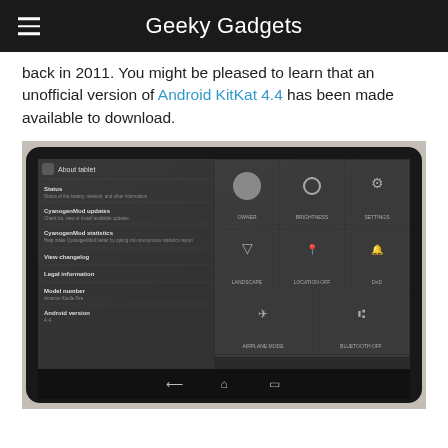Geeky Gadgets
back in 2011. You might be pleased to learn that an unofficial version of Android KitKat 4.4 has been made available to download.
[Figure (photo): A photo of an Amazon Kindle Fire tablet showing an Android KitKat 4.4 CyanogenMod settings screen. The left panel shows About tablet menu with Status, CyanogenMod updates, CyanogenMod statistics, View changelog, Legal information, Model number (Amazon Kindle Fire), and Android version 4.4. The right panel shows quick settings tiles including Owner, Brightness, Settings, Landscape, Location Off, DnD, Airplane Mode, and Bluetooth Off.]